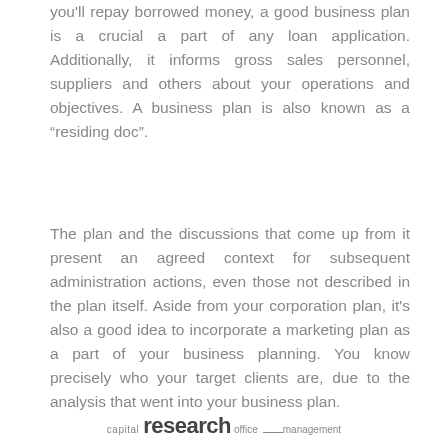you'll repay borrowed money, a good business plan is a crucial a part of any loan application. Additionally, it informs gross sales personnel, suppliers and others about your operations and objectives. A business plan is also known as a “reside doc”.
The plan and the discussions that come up from it present an agreed context for subsequent administration actions, even those not described in the plan itself. Aside from your corporation plan, it's also a good idea to incorporate a marketing plan as a part of your business planning. You know precisely who your target clients are, due to the analysis that went into your business plan.
capital research office management